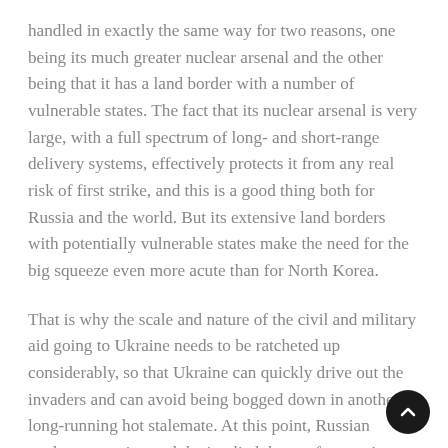handled in exactly the same way for two reasons, one being its much greater nuclear arsenal and the other being that it has a land border with a number of vulnerable states. The fact that its nuclear arsenal is very large, with a full spectrum of long- and short-range delivery systems, effectively protects it from any real risk of first strike, and this is a good thing both for Russia and the world. But its extensive land borders with potentially vulnerable states make the need for the big squeeze even more acute than for North Korea.
That is why the scale and nature of the civil and military aid going to Ukraine needs to be ratcheted up considerably, so that Ukraine can quickly drive out the invaders and can avoid being bogged down in another long-running hot stalemate. At this point, Russian nuclear posturing and the implied threat of strategic retaliation rings rather hollow.
And that is also why the regime of sanctions against Russia which has been triggered by its attack on Ukraine...